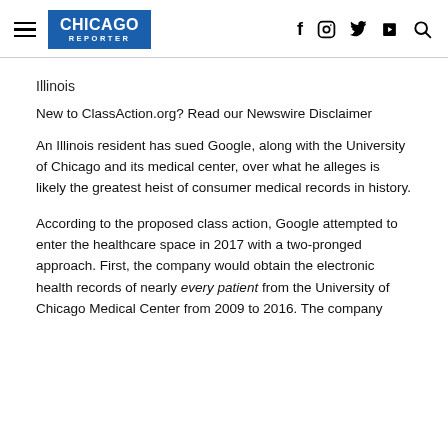CHICAGO REPORTER
Illinois
New to ClassAction.org? Read our Newswire Disclaimer
An Illinois resident has sued Google, along with the University of Chicago and its medical center, over what he alleges is likely the greatest heist of consumer medical records in history.
According to the proposed class action, Google attempted to enter the healthcare space in 2017 with a two-pronged approach. First, the company would obtain the electronic health records of nearly every patient from the University of Chicago Medical Center from 2009 to 2016. The company